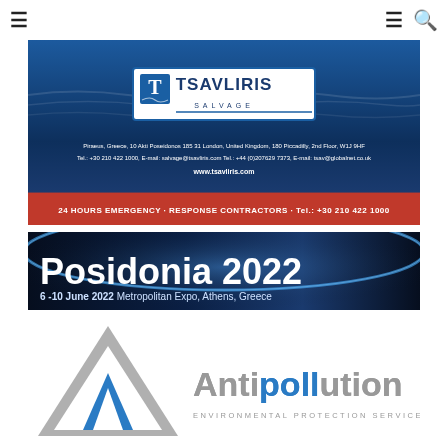Navigation bar with hamburger menu icons and search icon
[Figure (advertisement): Tsavliris Salvage advertisement banner. Blue ocean background with white logo box containing T icon and TSAVLIRIS SALVAGE text. Contact details for Piraeus Greece and London UK. Website www.tsavliris.com. Red bottom bar: 24 HOURS EMERGENCY · RESPONSE CONTRACTORS · Tel.: +30 210 422 1000]
[Figure (advertisement): Posidonia 2022 event banner. Dark blue background with glowing arc. Large white bold text: Posidonia 2022. Subtitle: 6-10 June 2022 Metropolitan Expo, Athens, Greece]
[Figure (logo): Antipollution Environmental Protection Services logo. Grey arrow/chevron icon on left. Text: ANTIPOLLUTION in large bold letters with POLLUTION highlighted in blue. Subtitle: ENVIRONMENTAL PROTECTION SERVICES]